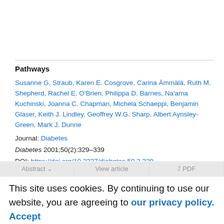Pathways
Susanne G. Straub, Karen E. Cosgrove, Carina Ämmälä, Ruth M. Shepherd, Rachel E. O'Brien, Philippa D. Barnes, Na'ama Kuchinski, Joanna C. Chapman, Michela Schaeppi, Benjamin Glaser, Keith J. Lindley, Geoffrey W.G. Sharp, Albert Aynsley-Green, Mark J. Dunne
Journal: Diabetes
Diabetes 2001;50(2):329–339
DOI: https://doi.org/10.2337/diabetes.50.2.329
Published: 01 February 2001
This site uses cookies. By continuing to use our website, you are agreeing to our privacy policy. Accept